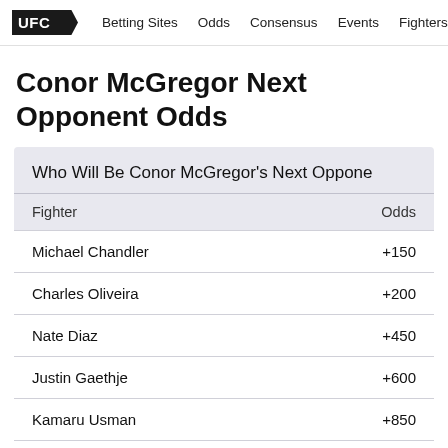UFC | Betting Sites | Odds | Consensus | Events | Fighters | R
Conor McGregor Next Opponent Odds
| Fighter | Odds |
| --- | --- |
| Michael Chandler | +150 |
| Charles Oliveira | +200 |
| Nate Diaz | +450 |
| Justin Gaethje | +600 |
| Kamaru Usman | +850 |
| Anderson Silva | +900 |